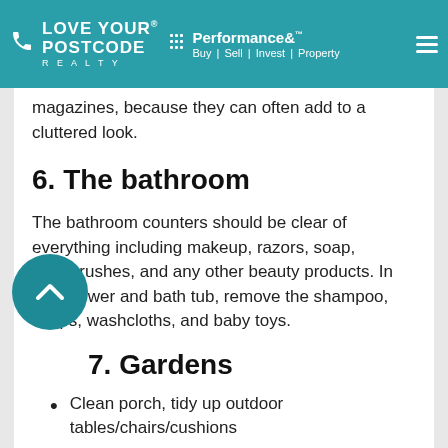LOVE YOUR POSTCODE® REALTY | Performance&™ Buy | Sell | Invest | Property
magazines, because they can often add to a cluttered look.
6. The bathroom
The bathroom counters should be clear of everything including makeup, razors, soap, toothbrushes, and any other beauty products. In the shower and bath tub, remove the shampoo, soaps, washcloths, and baby toys.
7. Gardens
Clean porch, tidy up outdoor tables/chairs/cushions